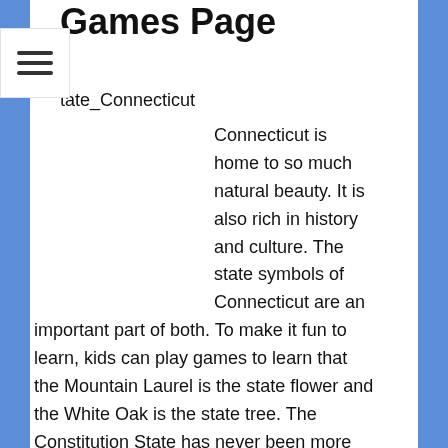Games Page
tate_Connecticut
Connecticut is home to so much natural beauty. It is also rich in history and culture. The state symbols of Connecticut are an important part of both. To make it fun to learn, kids can play games to learn that the Mountain Laurel is the state flower and the White Oak is the state tree. The Constitution State has never been more interesting! Have fun learning about the state of Connecticut!!